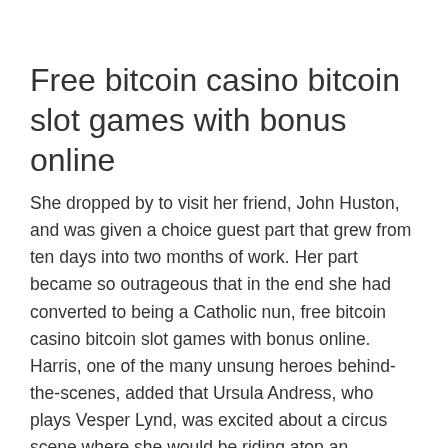Free bitcoin casino bitcoin slot games with bonus online
She dropped by to visit her friend, John Huston, and was given a choice guest part that grew from ten days into two months of work. Her part became so outrageous that in the end she had converted to being a Catholic nun, free bitcoin casino bitcoin slot games with bonus online. Harris, one of the many unsung heroes behind-the-scenes, added that Ursula Andress, who plays Vesper Lynd, was excited about a circus scene where she would be riding atop an elephant. She had Harris create a shocking pink Elephant Boy outfit with pink-blue feathers. Peter Sellers changed the scene where he and Ursula Andress are riding an